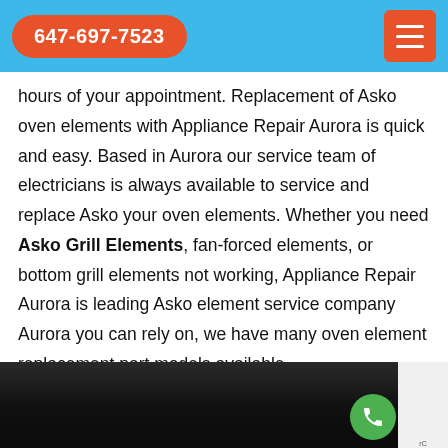647-697-7523
hours of your appointment. Replacement of Asko oven elements with Appliance Repair Aurora is quick and easy. Based in Aurora our service team of electricians is always available to service and replace Asko your oven elements. Whether you need Asko Grill Elements, fan-forced elements, or bottom grill elements not working, Appliance Repair Aurora is leading Asko element service company Aurora you can rely on, we have many oven element replacement part models available.
[Figure (photo): Photo of an oven interior or grill element being repaired, dark background with hands working on the appliance.]